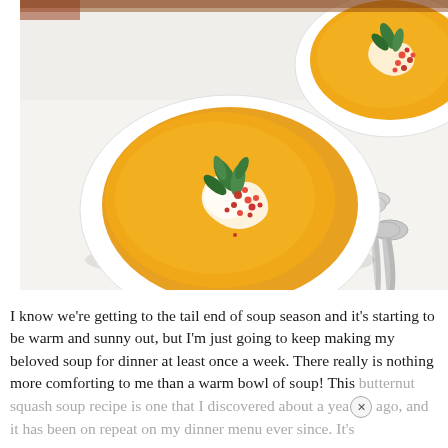[Figure (photo): Overhead view of two white bowls of creamy orange butternut squash soup, garnished with a swirl of cream, fresh mint or herb leaves, and red pomegranate seeds. Two silver spoons rest beside the bowls on a white linen cloth with small cross and dot embroidery.]
I know we're getting to the tail end of soup season and it's starting to be warm and sunny out, but I'm just going to keep making my beloved soup for dinner at least once a week. There really is nothing more comforting to me than a warm bowl of soup! This butternut squash soup recipe is one that I discovered about a year ago, and it has been on repeat on my dinner menu ever since. It's